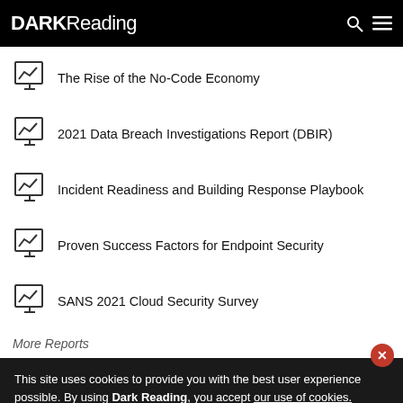DARK Reading
The Rise of the No-Code Economy
2021 Data Breach Investigations Report (DBIR)
Incident Readiness and Building Response Playbook
Proven Success Factors for Endpoint Security
SANS 2021 Cloud Security Survey
More Reports
This site uses cookies to provide you with the best user experience possible. By using Dark Reading, you accept our use of cookies.
Accept